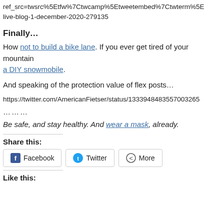https://twitter.com/...ref_src=twsrc%5Etfw%7Ctwcamp%5Etweetembed%7Ctwterm%5E...live-blog-1-december-2020-279135
Finally…
How not to build a bike lane. If you ever get tired of your mountain a DIY snowmobile.
And speaking of the protection value of flex posts…
https://twitter.com/AmericanFietser/status/1333948483557003265
………
Be safe, and stay healthy. And wear a mask, already.
Share this:
Facebook  Twitter  More
Like this: